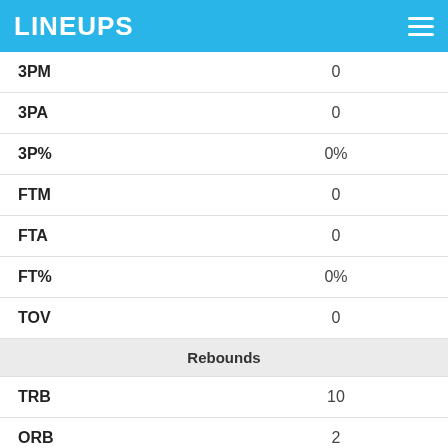LINEUPS
| Stat | Value |
| --- | --- |
| 3PM | 0 |
| 3PA | 0 |
| 3P% | 0% |
| FTM | 0 |
| FTA | 0 |
| FT% | 0% |
| TOV | 0 |
| Rebounds |  |
| TRB | 10 |
| ORB | 2 |
| DRB | 8 |
| Defense |  |